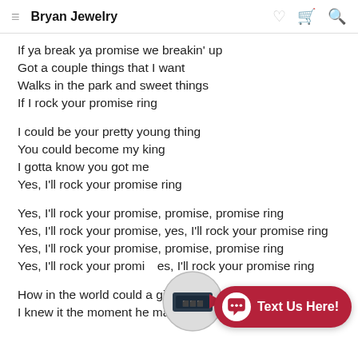Bryan Jewelry
If ya break ya promise we breakin' up
Got a couple things that I want
Walks in the park and sweet things
If I rock your promise ring

I could be your pretty young thing
You could become my king
I gotta know you got me
Yes, I'll rock your promise ring

Yes, I'll rock your promise, promise, promise ring
Yes, I'll rock your promise, yes, I'll rock your promise ring
Yes, I'll rock your promise, promise, promise ring
Yes, I'll rock your promise, yes, I'll rock your promise ring

How in the world could a girl say no
I knew it the moment he made my finger glow
[Figure (screenshot): Chat widget with 'Text Us Here!' button and a ring image overlay]